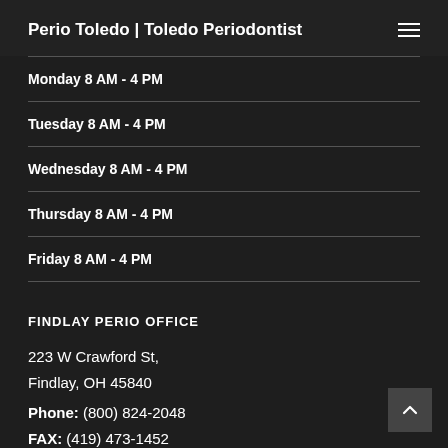Perio Toledo | Toledo Periodontist
Monday 8 AM - 4 PM
Tuesday 8 AM - 4 PM
Wednesday 8 AM - 4 PM
Thursday 8 AM - 4 PM
Friday 8 AM - 4 PM
FINDLAY PERIO OFFICE
223 W Crawford St,
Findlay, OH 45840
Phone: (800) 824-2048
FAX: (419) 473-1452